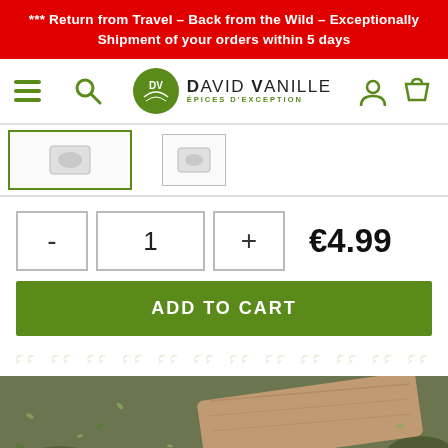*** Return from Travel – Back from the Wild – Exceptionally Shipment of your orders within 5 days
[Figure (screenshot): David Vanille Épices d'Exception website navigation bar with hamburger menu, search icon, logo, user account icon, and shopping bag icon]
[Figure (screenshot): Product thumbnail images partially visible]
- 1 + €4.99
ADD TO CART
[Figure (photo): Close-up photo of dried herbs/spices on a wooden surface with a wooden spoon]